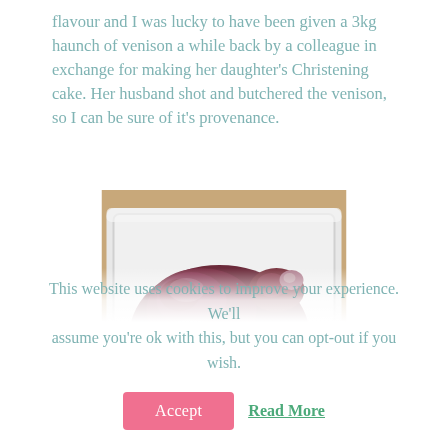flavour and I was lucky to have been given a 3kg haunch of venison a while back by a colleague in exchange for making her daughter's Christening cake. Her husband shot and butchered the venison, so I can be sure of it's provenance.
[Figure (photo): A raw haunch of venison sitting in a white rectangular roasting dish, placed on a wooden surface. The meat is dark red/purple in color with visible fat and sinew.]
This website uses cookies to improve your experience. We'll assume you're ok with this, but you can opt-out if you wish.